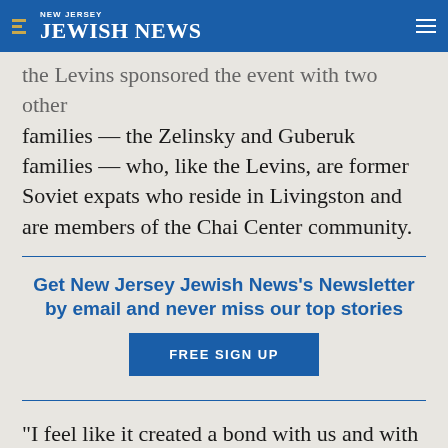NEW JERSEY JEWISH NEWS
families — the Zelinsky and Guberuk families — who, like the Levins, are former Soviet expats who reside in Livingston and are members of the Chai Center community.
Get New Jersey Jewish News's Newsletter by email and never miss our top stories
FREE SIGN UP
“I feel like it created a bond with us and with the girls,” said Inna. “I did not realize how special it would be until we did it.” She added, “It’s just